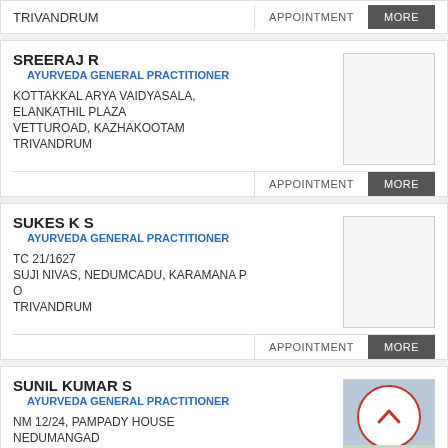TRIVANDRUM
APPOINTMENT | MORE
SREERAJ R
AYURVEDA GENERAL PRACTITIONER
KOTTAKKAL ARYA VAIDYASALA, ELANKATHIL PLAZA VETTUROAD, KAZHAKOOTAM TRIVANDRUM
APPOINTMENT | MORE
SUKES K S
AYURVEDA GENERAL PRACTITIONER
TC 21/1627 SUJI NIVAS, NEDUMCADU, KARAMANA P O TRIVANDRUM
APPOINTMENT | MORE
SUNIL KUMAR S
AYURVEDA GENERAL PRACTITIONER
NM 12/24, PAMPADY HOUSE NEDUMANGAD